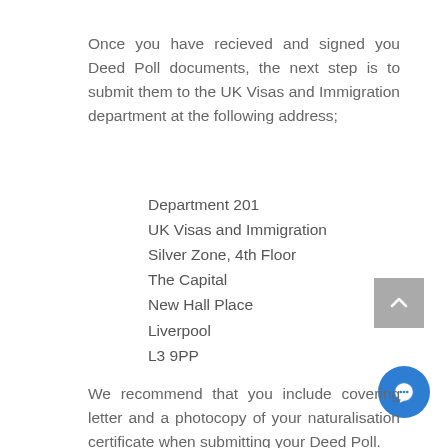Once you have recieved and signed you Deed Poll documents, the next step is to submit them to the UK Visas and Immigration department at the following address;
Department 201
UK Visas and Immigration
Silver Zone, 4th Floor
The Capital
New Hall Place
Liverpool
L3 9PP
We recommend that you include covering letter and a photocopy of your naturalisation certificate when submitting your Deed Poll.